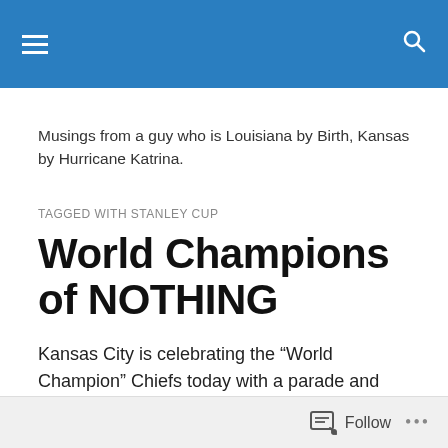Musings from a guy who is Louisiana by Birth, Kansas by Hurricane Katrina.
TAGGED WITH STANLEY CUP
World Champions of NOTHING
Kansas City is celebrating the “World Champion” Chiefs today with a parade and rally.
For the record, the Chiefs are not “World Champions” of
Follow